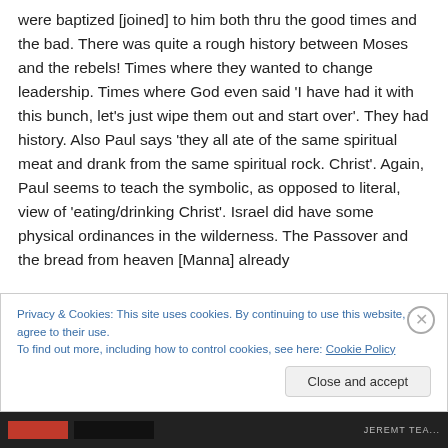were baptized [joined] to him both thru the good times and the bad. There was quite a rough history between Moses and the rebels! Times where they wanted to change leadership. Times where God even said 'I have had it with this bunch, let's just wipe them out and start over'. They had history. Also Paul says 'they all ate of the same spiritual meat and drank from the same spiritual rock. Christ'. Again, Paul seems to teach the symbolic, as opposed to literal, view of 'eating/drinking Christ'. Israel did have some physical ordinances in the wilderness. The Passover and the bread from heaven [Manna] already
Privacy & Cookies: This site uses cookies. By continuing to use this website, you agree to their use.
To find out more, including how to control cookies, see here: Cookie Policy
Close and accept